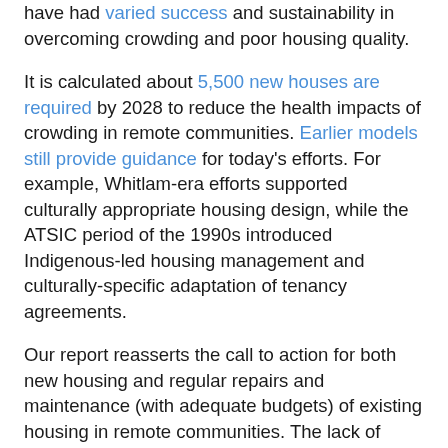have had varied success and sustainability in overcoming crowding and poor housing quality.
It is calculated about 5,500 new houses are required by 2028 to reduce the health impacts of crowding in remote communities. Earlier models still provide guidance for today's efforts. For example, Whitlam-era efforts supported culturally appropriate housing design, while the ATSIC period of the 1990s introduced Indigenous-led housing management and culturally-specific adaptation of tenancy agreements.
Our report reasserts the call to action for both new housing and regular repairs and maintenance (with adequate budgets) of existing housing in remote communities. The lack of effective treatment or a vaccine for COVID-19 make hygiene and social distancing critical. Yet crowding and faulty home infrastructure make these